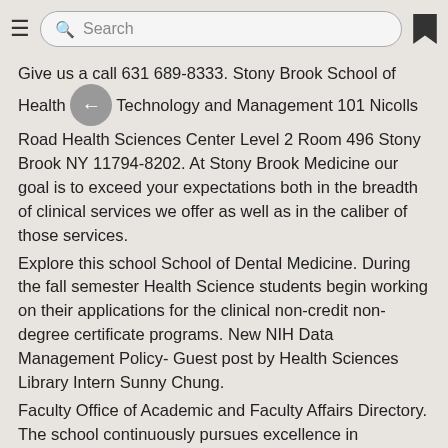Search
Give us a call 631 689-8333. Stony Brook School of Health Technology and Management 101 Nicolls Road Health Sciences Center Level 2 Room 496 Stony Brook NY 11794-8202. At Stony Brook Medicine our goal is to exceed your expectations both in the breadth of clinical services we offer as well as in the caliber of those services.
Explore this school School of Dental Medicine. During the fall semester Health Science students begin working on their applications for the clinical non-credit non-degree certificate programs. New NIH Data Management Policy- Guest post by Health Sciences Library Intern Sunny Chung.
Faculty Office of Academic and Faculty Affairs Directory. The school continuously pursues excellence in education patient care discovery and leadership and advances oral